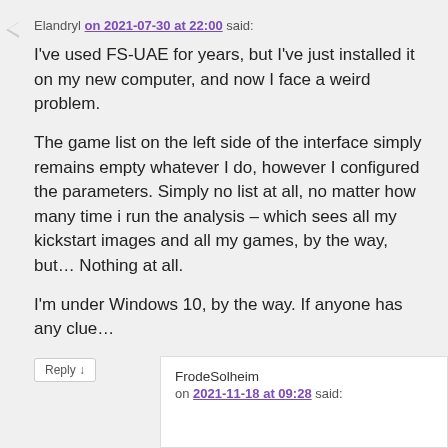Elandryl on 2021-07-30 at 22:00 said:
I've used FS-UAE for years, but I've just installed it on my new computer, and now I face a weird problem.
The game list on the left side of the interface simply remains empty whatever I do, however I configured the parameters. Simply no list at all, no matter how many time i run the analysis – which sees all my kickstart images and all my games, by the way, but… Nothing at all.
I'm under Windows 10, by the way. If anyone has any clue…
Reply ↓
FrodeSolheim
on 2021-11-18 at 09:28 said: